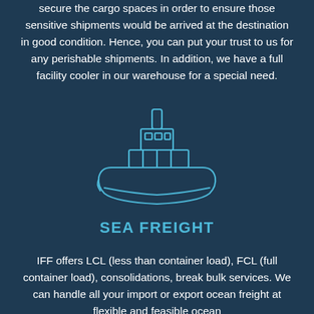secure the cargo spaces in order to ensure those sensitive shipments would be arrived at the destination in good condition. Hence, you can put your trust to us for any perishable shipments. In addition, we have a full facility cooler in our warehouse for a special need.
[Figure (illustration): Line illustration of a cargo ship / freighter vessel, drawn in cyan/light blue outline style on dark navy background]
SEA FREIGHT
IFF offers LCL (less than container load), FCL (full container load), consolidations, break bulk services. We can handle all your import or export ocean freight at flexible and feasible ocean